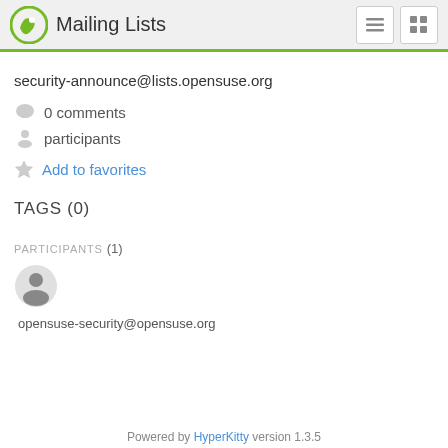Mailing Lists
security-announce@lists.opensuse.org
0 comments
participants
Add to favorites
TAGS (0)
PARTICIPANTS (1)
opensuse-security@opensuse.org
Powered by HyperKitty version 1.3.5